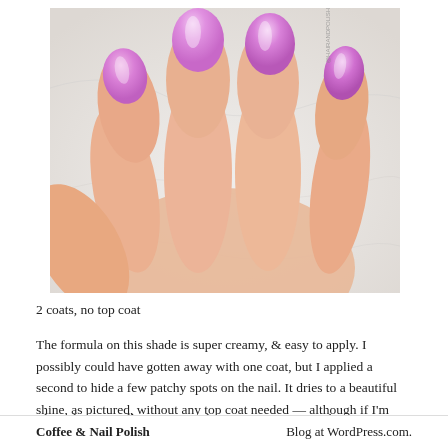[Figure (photo): Close-up photograph of a hand with four fingers showing, nails painted in lavender/lilac purple nail polish, against a white marble background. A small watermark is visible on the image.]
2 coats, no top coat
The formula on this shade is super creamy, & easy to apply. I possibly could have gotten away with one coat, but I applied a second to hide a few patchy spots on the nail. It dries to a beautiful shine, as pictured, without any top coat needed — although if I'm wearing long term, I always had top coat to help my polish last.
The colour is really pretty, & vibrant. It's not quite pink, not quite purple. But
Coffee & Nail Polish	Blog at WordPress.com.